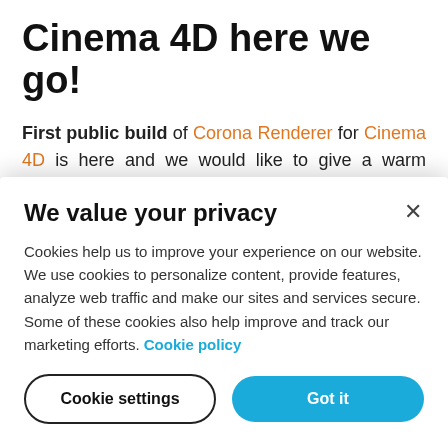Cinema 4D here we go!
First public build of Corona Renderer for Cinema 4D is here and we would like to give a warm welcome to new Cinema Coronauts.
If you cannot wait any longer, the latest official
We value your privacy
Cookies help us to improve your experience on our website. We use cookies to personalize content, provide features, analyze web traffic and make our sites and services secure. Some of these cookies also help improve and track our marketing efforts. Cookie policy
Cookie settings
Got it